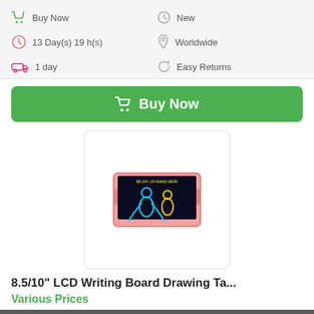Buy Now
New
13 Day(s) 19 h(s)
Worldwide
1 day
Easy Returns
Buy Now
[Figure (photo): Product image of an LCD Writing Board drawing tablet with a pink frame, showing a colorful digital drawing on the screen]
8.5/10" LCD Writing Board Drawing Ta...
Various Prices
Cookies help us deliver our services. By using our services, you agree to our use of cookies.
Learn More
Accept